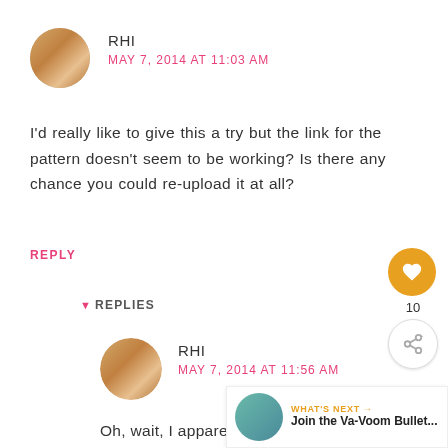RHI
MAY 7, 2014 AT 11:03 AM
I'd really like to give this a try but the link for the pattern doesn't seem to be working? Is there any chance you could re-upload it at all?
REPLY
▼ REPLIES
RHI
MAY 7, 2014 AT 11:56 AM
Oh, wait, I apparently saved it to my laptop last time I looked at it (I don't remember